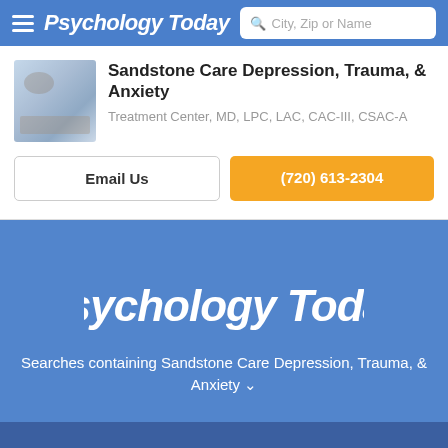Psychology Today — City, Zip or Name
Sandstone Care Depression, Trauma, & Anxiety
Treatment Center, MD, LPC, LAC, CAC-III, CSAC-A
Email Us
(720) 613-2304
[Figure (logo): Psychology Today logo in large white italic bold font on blue background]
Searches containing Sandstone Care Depression, Trauma, & Anxiety ∨